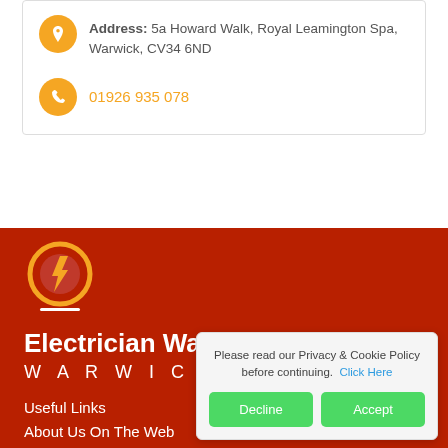Address: 5a Howard Walk, Royal Leamington Spa, Warwick, CV34 6ND
01926 935 078
[Figure (logo): Electrician Warwick logo: orange circle with red and yellow lightning bolt pencil icon]
Electrician Warwick
WARWICK
Useful Links
About Us On The Web
Electrician Warwickshire
Please read our Privacy & Cookie Policy before continuing. Click Here
Decline
Accept